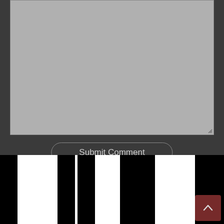[Figure (screenshot): A gray textarea input box with a resize handle at the bottom-right corner, on a dark background.]
Submit Comment
Subscribe to comments
[Figure (illustration): Piano keys pattern — alternating black and white vertical stripes resembling piano keys, with a dark red scroll-to-top button in the bottom right corner containing an upward chevron arrow.]